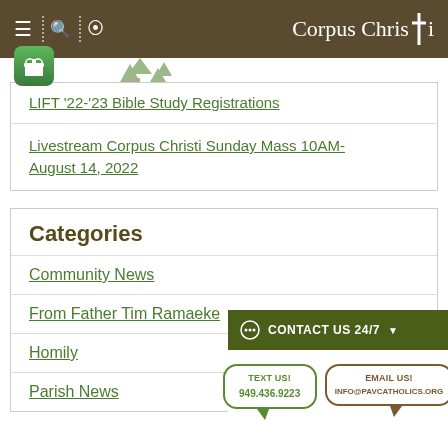Corpus Christi
LIFT '22-'23 Bible Study Registrations
Livestream Corpus Christi Sunday Mass 10AM- August 14, 2022
Categories
Community News
From Father Tim Ramaeke
Homily
Parish News
[Figure (infographic): Contact Us 24/7 popup with TEXT US 949.436.9223 and EMAIL US INFO@PAVCATHOLICS.ORG speech bubbles]